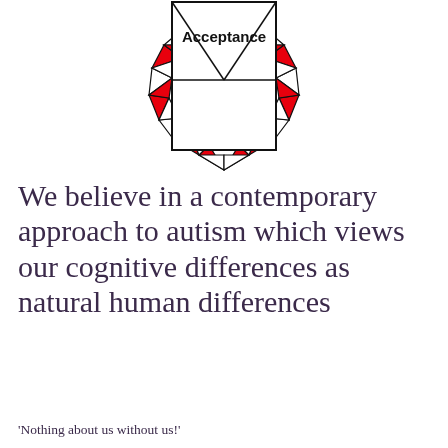[Figure (illustration): A geometric diamond/gem shape made of triangular facets, with red and white triangular sections arranged in a circular/oval border pattern. The center contains a white rectangle with the word 'Acceptance' in bold black text. The outer ring consists of alternating red and white triangular geometric segments forming a decorative border. Only the bottom portion of the gem is visible, cropped at the top.]
We believe in a contemporary approach to autism which views our cognitive differences as natural human differences
'Nothing about us without us!'